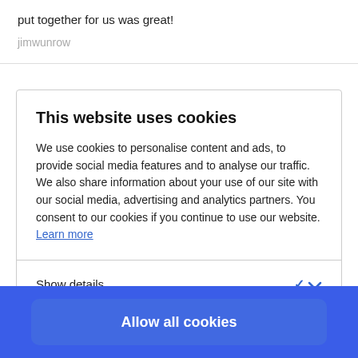put together for us was great!
jimwunrow
This website uses cookies
We use cookies to personalise content and ads, to provide social media features and to analyse our traffic. We also share information about your use of our site with our social media, advertising and analytics partners. You consent to our cookies if you continue to use our website. Learn more
Show details
Allow all cookies